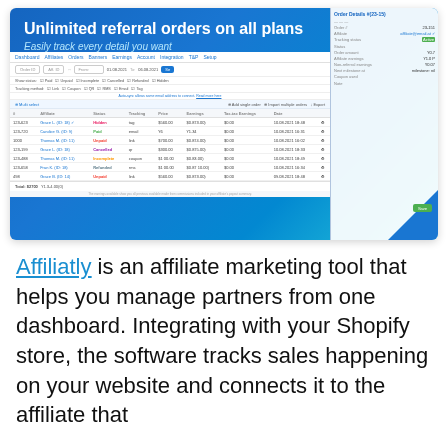[Figure (screenshot): Screenshot of Affiliatly dashboard showing 'Unlimited referral orders on all plans' and 'Easily track every detail you want' headings, with an orders table listing affiliates, statuses (Hidden, Paid, Unpaid, Cancelled, Incomplete, Refunded), tracking methods, prices, earnings, and dates. A side panel shows order details.]
Affiliatly is an affiliate marketing tool that helps you manage partners from one dashboard. Integrating with your Shopify store, the software tracks sales happening on your website and connects it to the affiliate that